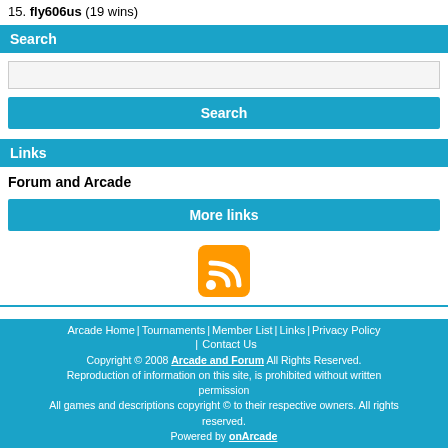15. fly606us (19 wins)
Search
[search input box]
Search [button]
Links
Forum and Arcade
More links [button]
[Figure (other): RSS feed icon (orange square with white WiFi-style signal lines)]
Arcade Home | Tournaments | Member List | Links | Privacy Policy | Contact Us
Copyright © 2008 Arcade and Forum All Rights Reserved.
Reproduction of information on this site, is prohibited without written permission
All games and descriptions copyright © to their respective owners. All rights reserved.
Powered by onArcade